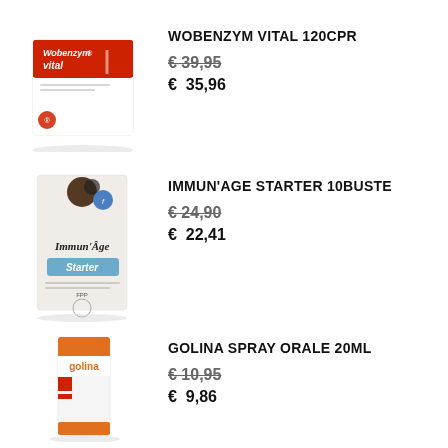[Figure (photo): Wobenzym vital product box — red and white packaging with human figure illustration]
WOBENZYM VITAL 120CPR
€ 39,95 (strikethrough original price)
€  35,96 (sale price)
[Figure (photo): Immun'Age Starter product box — white packaging with blue label]
IMMUN'AGE STARTER 10BUSTE
€ 24,90 (strikethrough original price)
€  22,41 (sale price)
[Figure (photo): Golina Spray Orale product box — white and orange packaging]
GOLINA SPRAY ORALE 20ML
€ 10,95 (strikethrough original price)
€  9,86 (sale price)